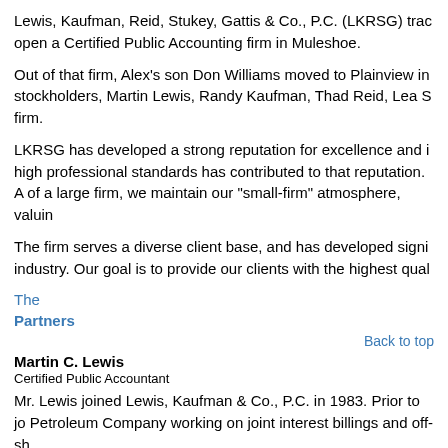Lewis, Kaufman, Reid, Stukey, Gattis & Co., P.C. (LKRSG) trac open a Certified Public Accounting firm in Muleshoe.
Out of that firm, Alex's son Don Williams moved to Plainview in stockholders, Martin Lewis, Randy Kaufman, Thad Reid, Lea S firm.
LKRSG has developed a strong reputation for excellence and i high professional standards has contributed to that reputation. of a large firm, we maintain our "small-firm" atmosphere, valuin
The firm serves a diverse client base, and has developed signi industry. Our goal is to provide our clients with the highest qual
The Partners
Back to top
Martin C. Lewis
Certified Public Accountant
Mr. Lewis joined Lewis, Kaufman & Co., P.C. in 1983. Prior to jo Petroleum Company working on joint interest billings and off-sh
Martin received his Bachelors degree in Accounting with empha served as a former adjunct professor at Wayland Baptist Unive